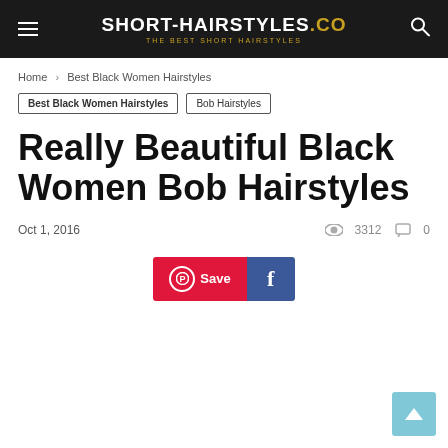SHORT-HAIRSTYLES.CO — THE BEST SHORT HAIRSTYLES
Home > Best Black Women Hairstyles
Best Black Women Hairstyles | Bob Hairstyles
Really Beautiful Black Women Bob Hairstyles
Oct 1, 2016   👁 3312   💬 0
[Figure (other): Social sharing buttons: Pinterest Save button (red) and Facebook share button (dark blue)]